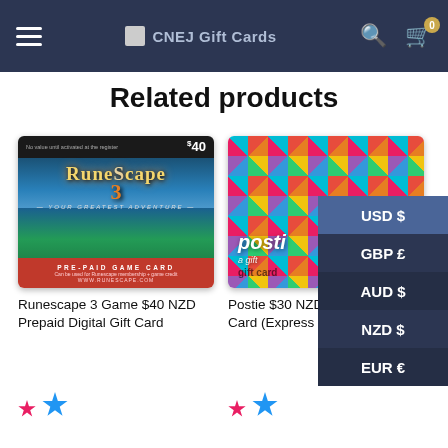CNEJ Gift Cards — navigation bar with hamburger menu, logo, search, and cart (0 items)
Related products
[Figure (photo): RuneScape 3 $40 prepaid game card product image]
Runescape 3 Game $40 NZD Prepaid Digital Gift Card
[Figure (photo): Postie $30 NZD Physical Gift Card (Express Delivery) product image — colorful checkerboard diamond pattern background]
Postie $30 NZD Physical Gift Card (Express Delivery)
[Figure (other): Currency selector dropdown overlay showing: USD $ (active/highlighted), GBP £, AUD $, NZD $, EUR €]